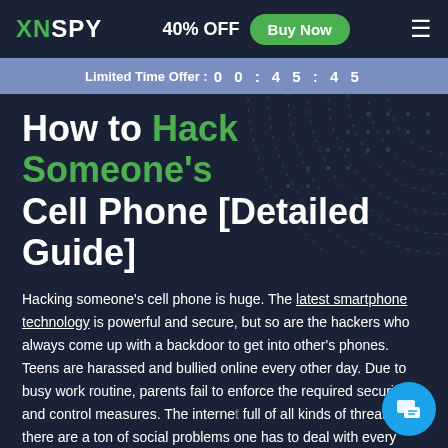XNSPY — 40% OFF Buy Now
Limited Time Offer : 00 : 45 : 45
How to Hack Someone's Cell Phone [Detailed Guide]
Hacking someone's cell phone is huge. The latest smartphone technology is powerful and secure, but so are the hackers who always come up with a backdoor to get into other's phones. Teens are harassed and bullied online every other day. Due to busy work routine, parents fail to enforce the required security and control measures. The internet is full of all kinds of threats and, there are a ton of social problems one has to deal with every other day.